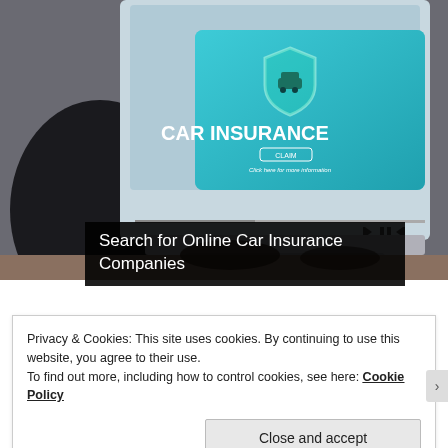[Figure (photo): Person typing on laptop showing a car insurance website with a shield and car icon graphic, 'CAR INSURANCE' text, CLAIM button, and media player controls visible at bottom of screen]
Search for Online Car Insurance Companies
Privacy & Cookies: This site uses cookies. By continuing to use this website, you agree to their use.
To find out more, including how to control cookies, see here: Cookie Policy